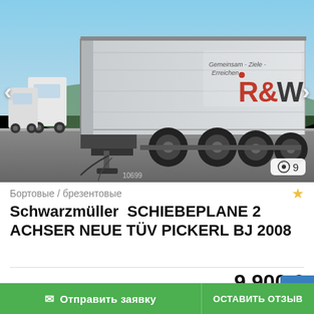[Figure (photo): Photo of a Schwarzmüller trailer/truck with R&W logo on the side, parked on a road, showing the rear and side view. Navigation arrows on left and right. Photo counter showing 9 images.]
Бортовые / брезентовые
Schwarzmüller  SCHIEBEPLANE 2 ACHSER NEUE TÜV PICKERL BJ 2008
9 900 €
Фиксированная цена без [НДС] а НДС
Отправить заявку
ОСТАВИТЬ ОТЗЫВ